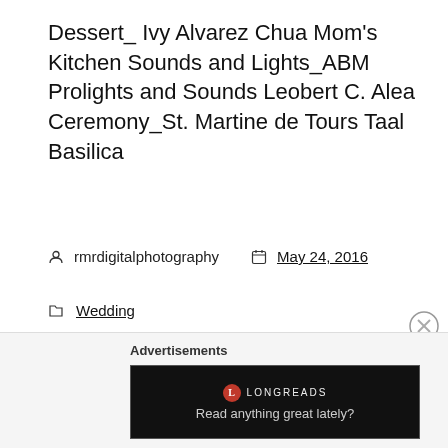Dessert_ Ivy Alvarez Chua Mom's Kitchen Sounds and Lights_ABM Prolights and Sounds Leobert C. Alea Ceremony_St. Martine de Tours Taal Basilica
rmrdigitalphotography   May 24, 2016
Wedding
Acuatico Beach Resort & Hotel, architecture, batanga, batangas city, batangas province, beauty, Best Photographer in Batangas, enchanted kingdom, garden wedding, lipa batangas, RMR Digital Photography, Ronald Ramos, wedding event
Advertisements
[Figure (screenshot): Longreads advertisement banner with dark background and text 'Read anything great lately?']